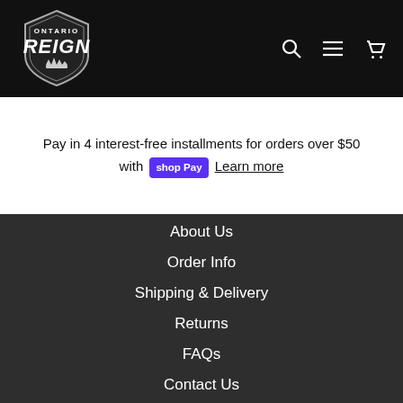[Figure (logo): Ontario Reign hockey team logo - shield shape with crown and text ONTARIO REIGN in white on black background]
Pay in 4 interest-free installments for orders over $50 with Shop Pay Learn more
About Us
Order Info
Shipping & Delivery
Returns
FAQs
Contact Us